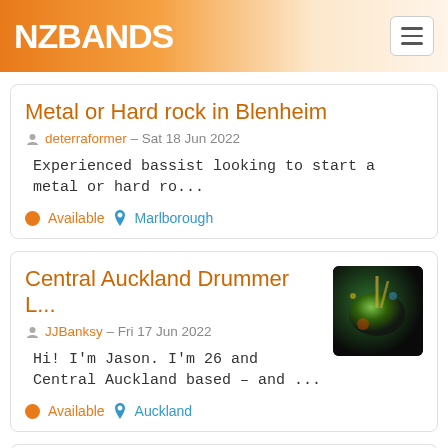NZBANDS
Metal or Hard rock in Blenheim
deterraformer – Sat 18 Jun 2022
Experienced bassist looking to start a metal or hard ro...
Available  Marlborough
Central Auckland Drummer L...
JJBanksy – Fri 17 Jun 2022
Hi! I'm Jason. I'm 26 and Central Auckland based – and ...
Available  Auckland
Band Mates Wanted